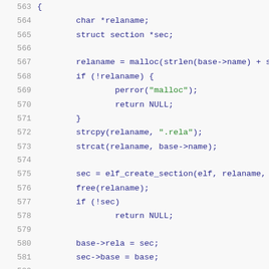Source code listing, lines 563-584, C programming language
563 {
564     char *relaname;
565     struct section *sec;
566
567     relaname = malloc(strlen(base->name) + s
568     if (!relaname) {
569             perror("malloc");
570             return NULL;
571     }
572     strcpy(relaname, ".rela");
573     strcat(relaname, base->name);
574
575     sec = elf_create_section(elf, relaname,
576     free(relaname);
577     if (!sec)
578             return NULL;
579
580     base->rela = sec;
581     sec->base = base;
582
583     sec->sh.sh_type = SHT_RELA;
584     sec->sh.sh_addralign = 8;